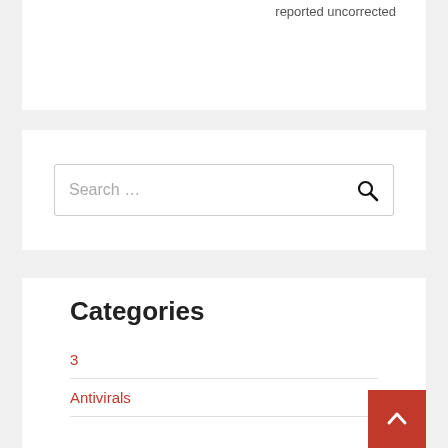reported uncorrected
[Figure (screenshot): Search bar with placeholder text 'Search ...' and a magnifying glass icon]
Categories
3
Antivirals